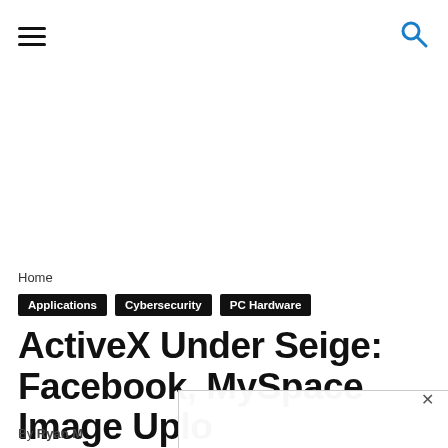[hamburger menu icon] [search icon]
Home
Applications  Cybersecurity  PC Hardware
ActiveX Under Seige: Facebook, MySpace Image Upload...
By Ryan M...